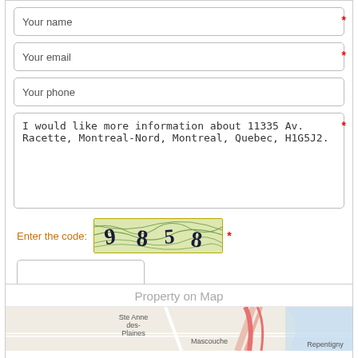Your name
Your email
Your phone
I would like more information about 11335 Av. Racette, Montreal-Nord, Montreal, Quebec, H1G5J2.
Enter the code:
[Figure (other): CAPTCHA image showing distorted numbers: 9 8 5 8]
Submit
Property on Map
[Figure (map): Map showing area around Montreal with labels: Ste Anne des-Plaines, Mascouche, Repentigny]